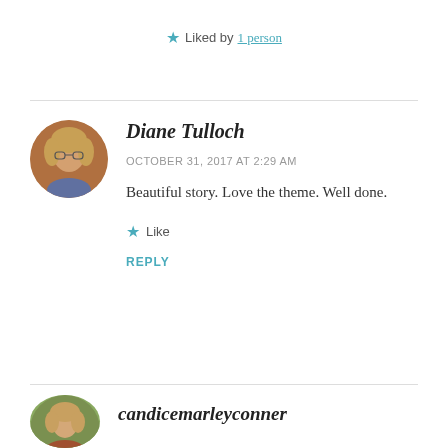★ Liked by 1 person
Diane Tulloch
OCTOBER 31, 2017 AT 2:29 AM
Beautiful story. Love the theme. Well done.
★ Like
REPLY
[Figure (photo): Circular avatar photo of Diane Tulloch, a woman with blonde hair and glasses]
candicemarleyconner
[Figure (photo): Circular avatar photo of candicemarleyconner, a woman with light hair]